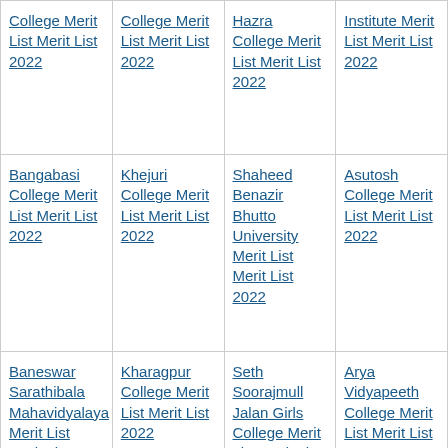| College Merit List Merit List 2022 | College Merit List Merit List 2022 | Hazra College Merit List Merit List 2022 | Institute Merit List Merit List 2022 |
| Bangabasi College Merit List Merit List 2022 | Khejuri College Merit List Merit List 2022 | Shaheed Benazir Bhutto University Merit List Merit List 2022 | Asutosh College Merit List Merit List 2022 |
| Baneswar Sarathibala Mahavidyalaya Merit List Merit List 2022 | Kharagpur College Merit List Merit List 2022 | Seth Soorajmull Jalan Girls College Merit List Merit List 2022 | Arya Vidyapeeth College Merit List Merit List 2022 |